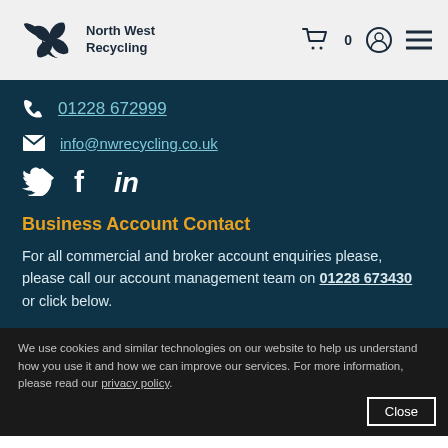[Figure (logo): North West Recycling logo with pinwheel icon]
01228 672999
info@nwrecycling.co.uk
[Figure (illustration): Social media icons: Twitter, Facebook, LinkedIn]
Business Account Contact
For all commercial and broker account enquiries please, please call our account management team on 01228 673430 or click below.
We use cookies and similar technologies on our website to help us understand how you use it and how we can improve our services. For more information, please read our privacy policy.